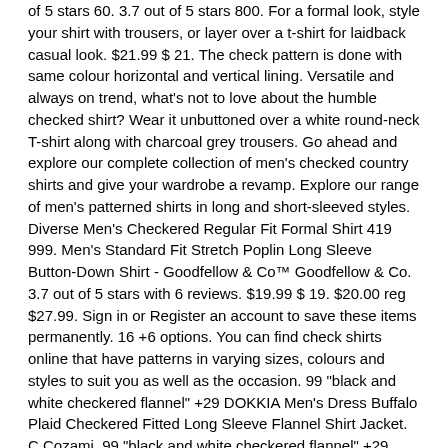of 5 stars 60. 3.7 out of 5 stars 800. For a formal look, style your shirt with trousers, or layer over a t-shirt for laidback casual look. $21.99 $ 21. The check pattern is done with same colour horizontal and vertical lining. Versatile and always on trend, what's not to love about the humble checked shirt? Wear it unbuttoned over a white round-neck T-shirt along with charcoal grey trousers. Go ahead and explore our complete collection of men's checked country shirts and give your wardrobe a revamp. Explore our range of men's patterned shirts in long and short-sleeved styles. Diverse Men's Checkered Regular Fit Formal Shirt 419 999. Men's Standard Fit Stretch Poplin Long Sleeve Button-Down Shirt - Goodfellow & Co™ Goodfellow & Co. 3.7 out of 5 stars with 6 reviews. $19.99 $ 19. $20.00 reg $27.99. Sign in or Register an account to save these items permanently. 16 +6 options. You can find check shirts online that have patterns in varying sizes, colours and styles to suit you as well as the occasion. 99 "black and white checkered flannel" +29 DOKKIA Men's Dress Buffalo Plaid Checkered Fitted Long Sleeve Flannel Shirt Jacket. C Cozami. 99 "black and white checkered flannel" +29 DOKKIA Men's Dress Buffalo Plaid Checkered Fitted Long Sleeve Flannel Shirt Jacket. From classic tartan to windowpane patterns, checks are out here doing the most. 65% off. Shop spliced men's checked shirts and clash like a pro. FMC. 60% off. Pack of 2 ₹576 ₹1,399. 3.9 out of 5 stars 473. Are